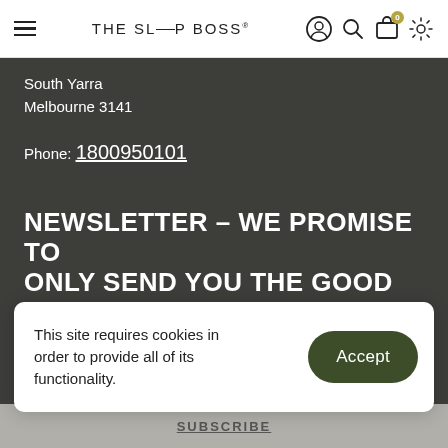THE SLEEP BOSS
South Yarra
Melbourne 3141
Phone: 1800950101
NEWSLETTER – WE PROMISE TO ONLY SEND YOU THE GOOD STUFF
SUBSCRIBE
This site requires cookies in order to provide all of its functionality.
Accept